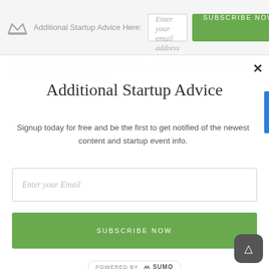Additional Startup Advice Here:
Additional Startup Advice
Signup today for free and be the first to get notified of the newest content and startup event info.
Enter your Email
SUBSCRIBE NOW
[Figure (logo): POWERED BY SUMO badge]
5 Reasons Lead Generation Tools Like Leadjolt Can Help You Kickstart Your Business in Real Estate
A Guide To Purchasing Your First Ottawa Home
Pub Entrepreneurs – Stand Out with a Neon Sign in Your Ba